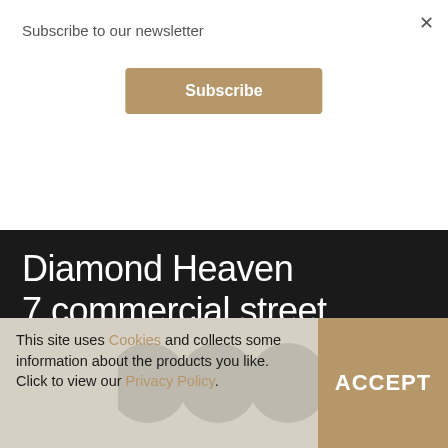×
Subscribe to our newsletter
Subscribe
Diamond Heaven
7 commercial street,
Leeds, LS1 6AL
FOLLOW US
This site uses Cookies and collects some information about the products you like. Click to view our Privacy Policy.
ACCEPT